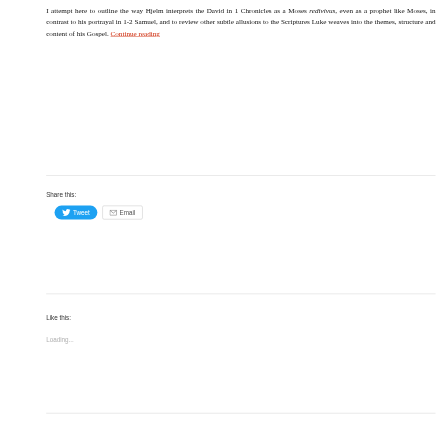I attempt here to outline the way Hjelm interprets the David in 1 Chronicles as a Moses redivivus, even as a prophet like Moses, in contrast to his portrayal in 1-2 Samuel, and to review other subtle allusions to the Scriptures Luke weaves into the themes, structure and content of his Gospel. Continue reading
Share this:
[Figure (other): Social sharing buttons: Tweet (blue rounded button with Twitter bird icon) and Email (white button with envelope icon)]
Like this:
Loading...